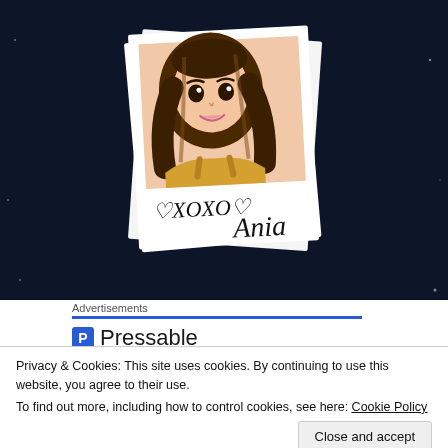[Figure (illustration): Cartoon avatar illustration of a girl with long brown hair in a polaroid-style photo frame, signed '♡XOXO♡ Ania' in handwritten text at the bottom of the polaroid. The polaroid is slightly tilted and appears to be standing up. Dark starry background.]
Advertisements
P Pressable
Privacy & Cookies: This site uses cookies. By continuing to use this website, you agree to their use.
To find out more, including how to control cookies, see here: Cookie Policy
Close and accept
Works Best